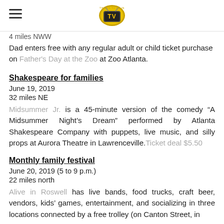TV (logo)
4 miles NWW
Dad enters free with any regular adult or child ticket purchase on Father's Day at the Zoo at Zoo Atlanta.
Shakespeare for families
June 19, 2019
32 miles NE
Midsummer Jr. is a 45-minute version of the comedy “A Midsummer Night’s Dream” performed by Atlanta Shakespeare Company with puppets, live music, and silly props at Aurora Theatre in Lawrenceville. Ticket deal $5.50
Monthly family festival
June 20, 2019 (5 to 9 p.m.)
22 miles north
Alive in Roswell has live bands, food trucks, craft beer, vendors, kids’ games, entertainment, and socializing in three locations connected by a free trolley (on Canton Street, in